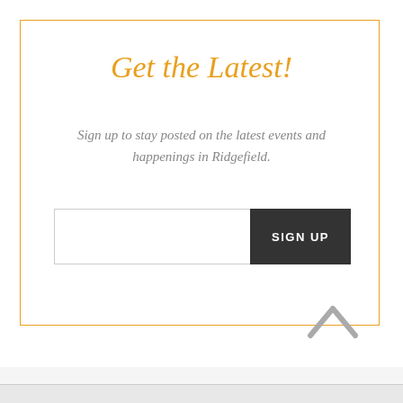Get the Latest!
Sign up to stay posted on the latest events and happenings in Ridgefield.
[Figure (infographic): Email sign-up form with text input field and dark 'SIGN UP' button]
[Figure (illustration): Gray upward-pointing chevron/arrow icon]